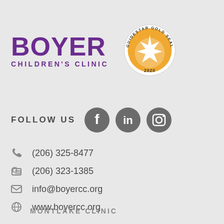[Figure (logo): Boyer Children's Clinic logo in purple text]
[Figure (logo): GuideStar Gold Seal of Transparency 2020 badge]
FOLLOW US
[Figure (logo): Social media icons: Facebook, LinkedIn, Instagram]
(206) 325-8477
(206) 323-1385
info@boyercc.org
www.boyercc.org
MONTLAKE CLINIC